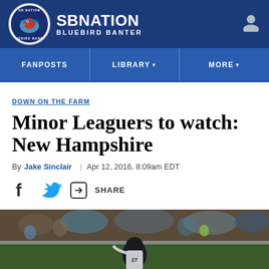SB Nation - Bluebird Banter
DOWN ON THE FARM
Minor Leaguers to watch: New Hampshire
By Jake Sinclair | Apr 12, 2016, 8:09am EDT
SHARE
[Figure (photo): Baseball player at bat, crowd in background, night game]